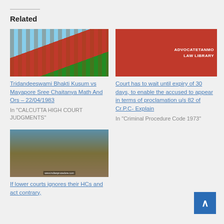Related
[Figure (photo): Calcutta High Court building exterior, red gothic architecture]
Tridandeeswami Bhakti Kusum vs Mayapore Sree Chaitanya Math And Ors – 22/04/1983
In "CALCUTTA HIGH COURT JUDGMENTS"
[Figure (photo): Red background with white text: ADVOCATETANMO LAW LIBRARY]
Court has to wait until expiry of 30 days, to enable the accused to appear in terms of proclamation u/s 82 of Cr.P.C- Explain
In "Criminal Procedure Code 1973"
[Figure (photo): Court of India building collage with circular emblem]
If lower courts ignores their HCs and act contrary,